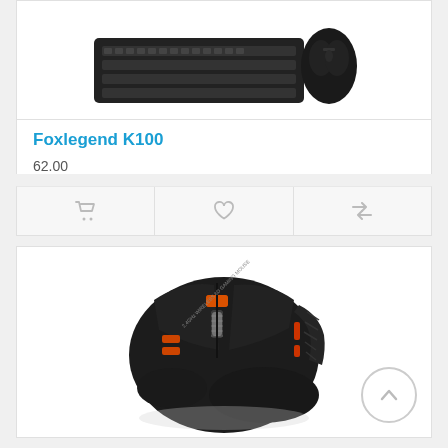[Figure (photo): Foxlegend K100 keyboard and mouse combo product image, dark/black, shown from above at an angle]
Foxlegend K100
62.00
[Figure (photo): Black gaming mouse with orange accent lighting, 2.4GHz wireless 6D gaming mouse, shown from above at slight angle]